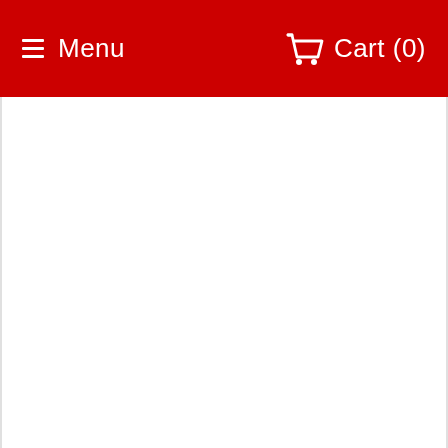≡ Menu   🛒 Cart (0)
[Figure (screenshot): Blank white content area below the red navigation header]